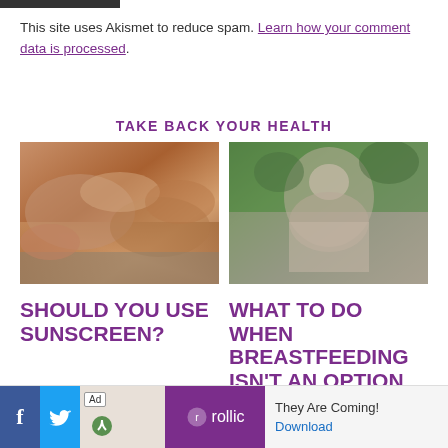This site uses Akismet to reduce spam. Learn how your comment data is processed.
TAKE BACK YOUR HEALTH
[Figure (photo): Person applying sunscreen lotion on legs while sitting on a mat outdoors]
[Figure (photo): Woman with flower crown breastfeeding a baby outdoors near water]
SHOULD YOU USE SUNSCREEN?
WHAT TO DO WHEN BREASTFEEDING ISN'T AN OPTION
Ad | rollic | They Are Coming! | Download